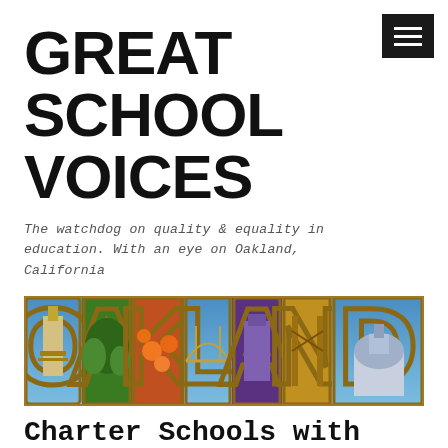GREAT SCHOOL VOICES
The watchdog on quality & equality in education. With an eye on Oakland, California
[Figure (photo): Vintage postcard-style image of the word OAKLAND in large decorative letters, each letter containing scenes of Oakland landmarks including a tower, bridge, citrus fruits, and a domed building]
Charter Schools with Open Seats on 5/25, You Can Still Apply, Many